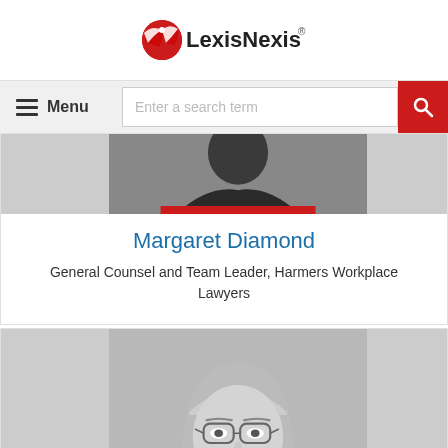LexisNexis
Menu   Enter a search term
[Figure (photo): Partial photo of Margaret Diamond at top of card with red stripe accent]
Margaret Diamond
General Counsel and Team Leader, Harmers Workplace Lawyers
[Figure (photo): Black and white portrait photo of a woman with glasses and shoulder-length hair, smiling slightly, wearing a patterned scarf and white collar]
Live Chat